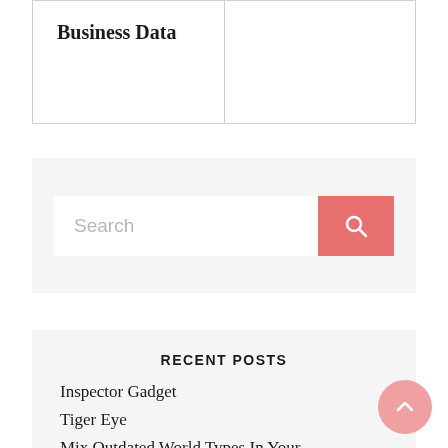| Business Data |  |
| --- | --- |
Search
RECENT POSTS
Inspector Gadget
Tiger Eye
Mix Outdated World Types In Your Wardrobe